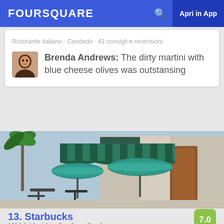FOURSQUARE  🔍  Apri in App
Ristorante italiano · Condado · 41 consigli e recensioni
Brenda Andrews: The dirty martini with blue cheese olives was outstansing
[Figure (photo): Outdoor seating area of a Starbucks with green awnings and teal patio umbrellas, palm trees visible in background]
13. Starbucks
7.0
1214 Ashford Ave, San Juan, San Juan